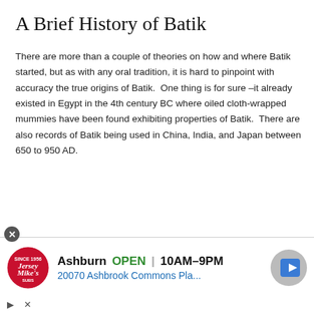A Brief History of Batik
There are more than a couple of theories on how and where Batik started, but as with any oral tradition, it is hard to pinpoint with accuracy the true origins of Batik.  One thing is for sure –it already existed in Egypt in the 4th century BC where oiled cloth-wrapped mummies have been found exhibiting properties of Batik.  There are also records of Batik being used in China, India, and Japan between 650 to 950 AD.
[Figure (other): Advertisement banner for Jersey Mike's Subs showing logo, Ashburn location, OPEN status, hours 10AM-9PM, address 20070 Ashbrook Commons Pla..., and a navigation icon]